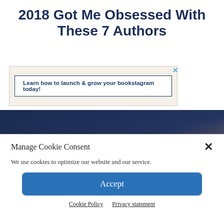2018 Got Me Obsessed With These 7 Authors
[Figure (infographic): Advertisement banner with decorative paper/map background and a white box reading: 'Learn how to launch & grow your bookstagram today!' with a close (X) button in the top right corner.]
[Figure (photo): A person holding an open book against a dark blue/navy background, showing the pages fanned open.]
Manage Cookie Consent
We use cookies to optimize our website and our service.
Accept
Cookie Policy  Privacy statement